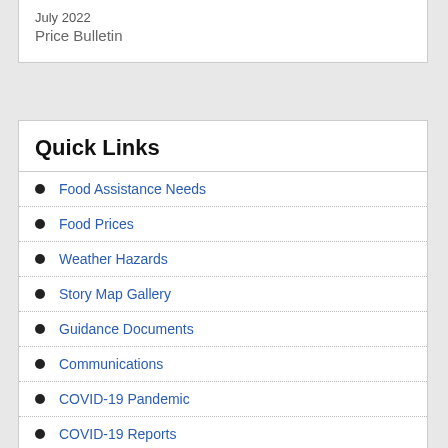July 2022
Price Bulletin
Quick Links
Food Assistance Needs
Food Prices
Weather Hazards
Story Map Gallery
Guidance Documents
Communications
COVID-19 Pandemic
COVID-19 Reports